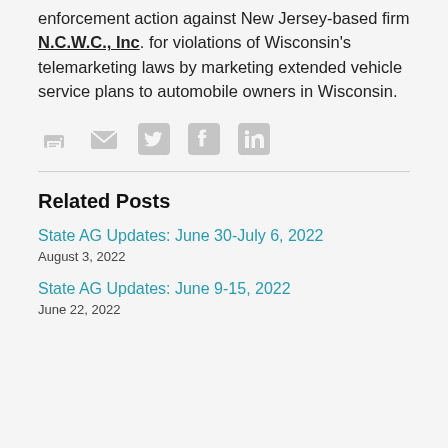enforcement action against New Jersey-based firm N.C.W.C., Inc. for violations of Wisconsin's telemarketing laws by marketing extended vehicle service plans to automobile owners in Wisconsin.
[Figure (infographic): Social sharing icons row: print, email, Twitter, Facebook, LinkedIn]
Related Posts
State AG Updates: June 30-July 6, 2022
August 3, 2022
State AG Updates: June 9-15, 2022
June 22, 2022